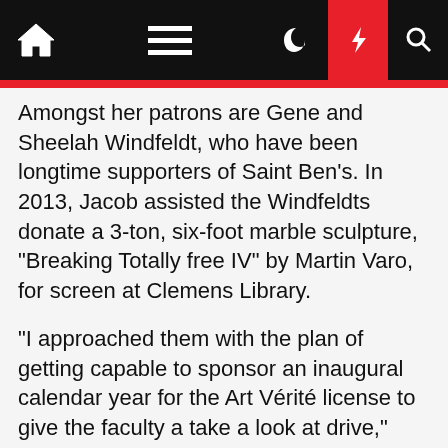Navigation bar with home, menu, moon, lightning, and search icons
Amongst her patrons are Gene and Sheelah Windfeldt, who have been longtime supporters of Saint Ben's. In 2013, Jacob assisted the Windfeldts donate a 3-ton, six-foot marble sculpture, "Breaking Totally free IV" by Martin Varo, for screen at Clemens Library.
“I approached them with the plan of getting capable to sponsor an inaugural calendar year for the Art Vérité license to give the faculty a take a look at drive,” Jacob stated. “When you fall a new system into the laps of the professors, they may well have their 12 months planned or curriculum established up, but this library is meant to enrich what the instructors by now give their college students.”
CSB and SJU precede prestigious establishments